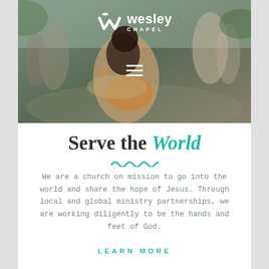[Figure (photo): Hero photo of a woman holding a child outdoors with a crowd in background, overlaid with Wesley Chapel logo and hamburger menu icon]
Serve the World
We are a church on mission to go into the world and share the hope of Jesus. Through local and global ministry partnerships, we are working diligently to be the hands and feet of God.
LEARN MORE